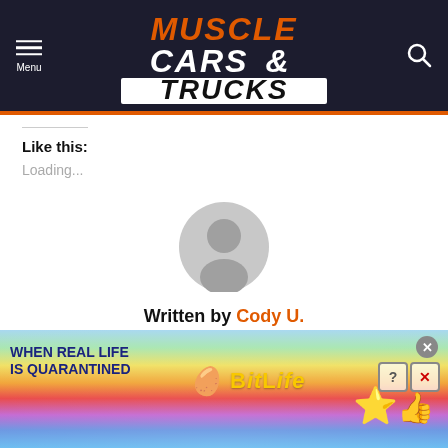Muscle Cars & Trucks — site header with menu and search
Like this:
Loading...
[Figure (illustration): Generic grey user avatar icon (circle with person silhouette)]
Written by Cody U.
[Figure (illustration): BitLife advertisement banner: rainbow background, 'WHEN REAL LIFE IS QUARANTINED' text, sperm emoji, BitLife logo, emoji characters]